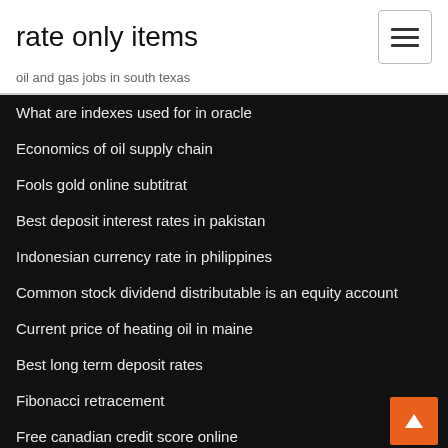rate only items
oil and gas jobs in south texas
What are indexes used for in oracle
Economics of oil supply chain
Fools gold online subtitrat
Best deposit interest rates in pakistan
Indonesian currency rate in philippines
Common stock dividend distributable is an equity account
Current price of heating oil in maine
Best long term deposit rates
Fibonacci retracement
Free canadian credit score online